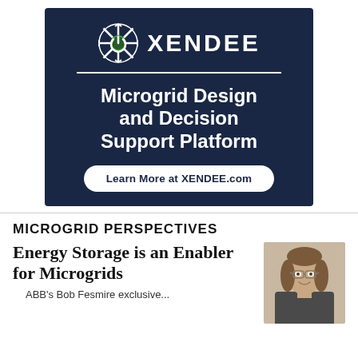[Figure (logo): XENDEE advertisement banner with dark navy background. Features the XENDEE logo (star/snowflake icon with green power symbol, bold white XENDEE text), a white horizontal rule, large white headline 'Microgrid Design and Decision Support Platform', and a white pill-shaped button reading 'Learn More at XENDEE.com']
MICROGRID PERSPECTIVES
Energy Storage is an Enabler for Microgrids
[Figure (photo): Headshot of a middle-aged man with shoulder-length brown hair, glasses, and a slight smile, wearing a dark jacket.]
ABB's Bob Fesmire exclusive...